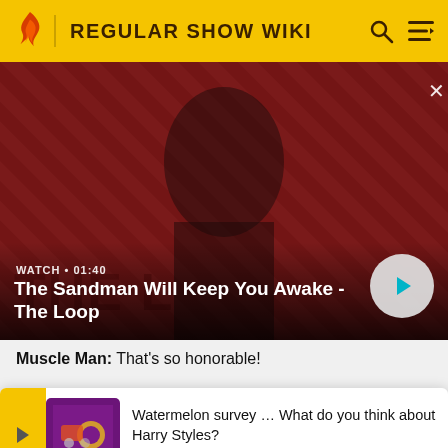REGULAR SHOW WIKI
[Figure (screenshot): Hero banner showing a dark-dressed figure with a raven on shoulder against a red/dark diagonal striped background. Video title: The Sandman Will Keep You Awake - The Loop. Watch duration: 01:40. Play button visible.]
Muscle Man: That's so honorable!
(The ... scle Man m...
[Figure (infographic): Popup survey card with yellow arrow bar on left, purple square image thumbnail, and text: Watermelon survey … What do you think about Harry Styles? TAKE THE SURVEY HERE]